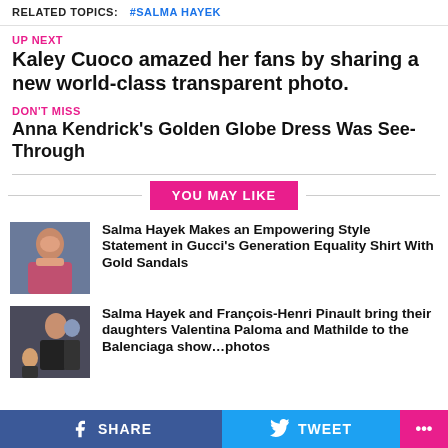RELATED TOPICS: #SALMA HAYEK
UP NEXT
Kaley Cuoco amazed her fans by sharing a new world-class transparent photo.
DON'T MISS
Anna Kendrick's Golden Globe Dress Was See-Through
YOU MAY LIKE
[Figure (photo): Photo of Salma Hayek in pink dress]
Salma Hayek Makes an Empowering Style Statement in Gucci's Generation Equality Shirt With Gold Sandals
[Figure (photo): Photo of Salma Hayek and François-Henri Pinault with daughters]
Salma Hayek and François-Henri Pinault bring their daughters Valentina Paloma and Mathilde to the Balenciaga show…photos
SHARE   TWEET   ...